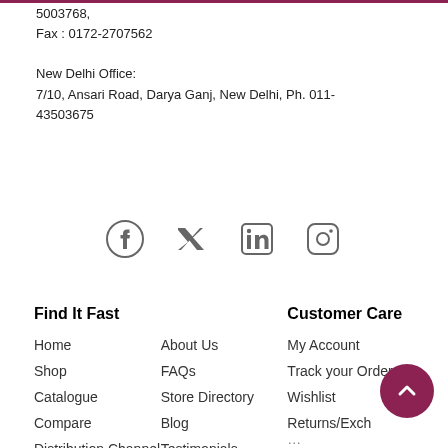5003768,
Fax : 0172-2707562
New Delhi Office:
7/10, Ansari Road, Darya Ganj, New Delhi, Ph. 011-43503675
[Figure (other): Social media icons row: Facebook, Twitter, LinkedIn, Instagram]
Find It Fast
Customer Care
Home
About Us
My Account
Shop
FAQs
Track your Order
Catalogue
Store Directory
Wishlist
Compare
Blog
Returns/Exchange
Distribution Channel
Testimonials
Privacy Statement